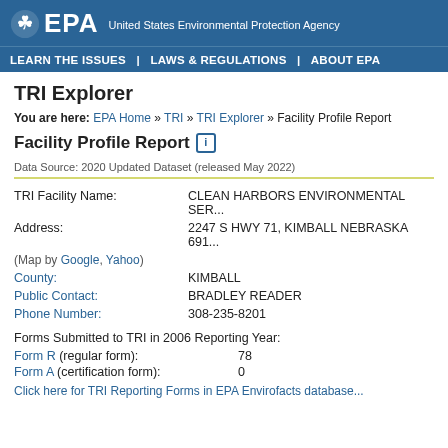EPA United States Environmental Protection Agency
LEARN THE ISSUES | LAWS & REGULATIONS | ABOUT EPA
TRI Explorer
You are here: EPA Home » TRI » TRI Explorer » Facility Profile Report
Facility Profile Report
Data Source: 2020 Updated Dataset (released May 2022)
| TRI Facility Name: | CLEAN HARBORS ENVIRONMENTAL SER... |
| Address: | 2247 S HWY 71, KIMBALL NEBRASKA 691... |
| (Map by Google, Yahoo) |  |
| County: | KIMBALL |
| Public Contact: | BRADLEY READER |
| Phone Number: | 308-235-8201 |
Forms Submitted to TRI in 2006 Reporting Year:
| Form R (regular form): | 78 |
| Form A (certification form): | 0 |
Click here for TRI Reporting Forms in EPA Envirofacts database...